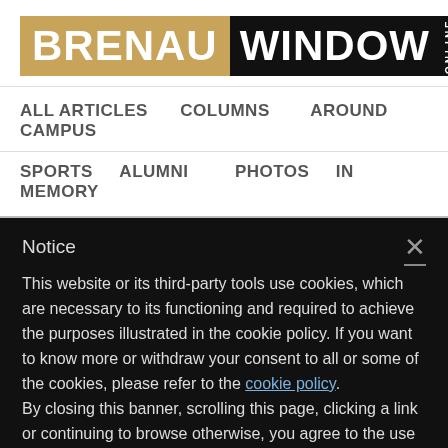[Figure (logo): Brenau Window Online logo — 'BRENAU' in white on golden/tan background, 'WINDOW' in white on black background, 'ONLINE' rotated vertically in small white text on black.]
ALL ARTICLES   COLUMNS   AROUND CAMPUS
SPORTS   ALUMNI   PHOTOS   IN MEMORY
Notice
This website or its third-party tools use cookies, which are necessary to its functioning and required to achieve the purposes illustrated in the cookie policy. If you want to know more or withdraw your consent to all or some of the cookies, please refer to the cookie policy.
By closing this banner, scrolling this page, clicking a link or continuing to browse otherwise, you agree to the use of cookies.